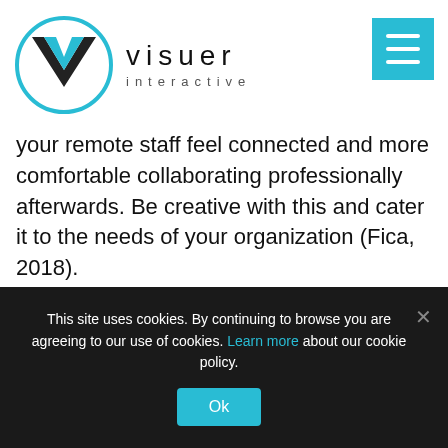[Figure (logo): Visuer Interactive logo: circular blue outlined V icon with cyan chevron, followed by 'visuer' in thin letters and 'interactive' below]
your remote staff feel connected and more comfortable collaborating professionally afterwards. Be creative with this and cater it to the needs of your organization (Fica, 2018).
Build Your Toolkit
The world of telecommunication and home-based work calls for a strategically
This site uses cookies. By continuing to browse you are agreeing to our use of cookies. Learn more about our cookie policy.
Ok